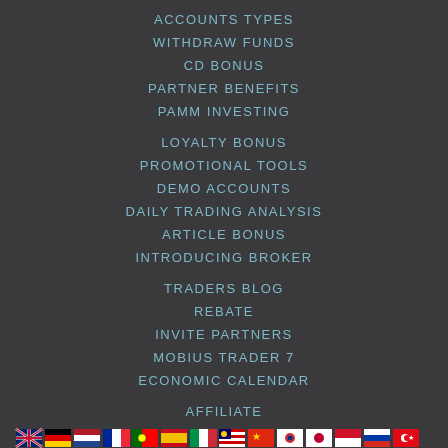ACCOUNTS TYPES
WITHDRAW FUNDS
CD BONUS
PARTNER BENEFITS
PAMM INVESTING
LOYALTY BONUS
PROMOTIONAL TOOLS
DEMO ACCOUNTS
DAILY TRADING ANALYSIS
ARTICLE BONUS
INTRODUCING BROKER
TRADERS BLOG
REBATE
INVITE PARTNERS
MOBIUS TRADER 7
ECONOMIC CALENDAR
AFFILIATE
[Figure (illustration): Row of country flag icons representing language/region options]
MT 7 WEB BROWSERS